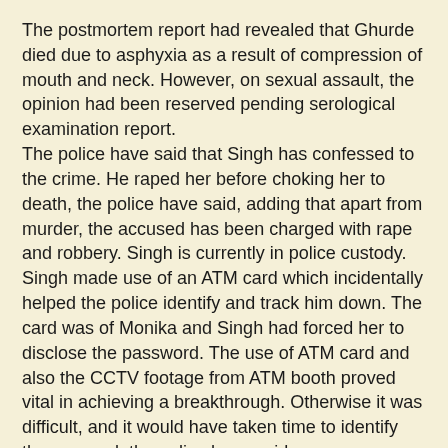The postmortem report had revealed that Ghurde died due to asphyxia as a result of compression of mouth and neck. However, on sexual assault, the opinion had been reserved pending serological examination report. The police have said that Singh has confessed to the crime. He raped her before choking her to death, the police have said, adding that apart from murder, the accused has been charged with rape and robbery. Singh is currently in police custody. Singh made use of an ATM card which incidentally helped the police identify and track him down. The card was of Monika and Singh had forced her to disclose the password. The use of ATM card and also the CCTV footage from ATM booth proved vital in achieving a breakthrough. Otherwise it was difficult, and it would have taken time to identify the accused, the police have said.